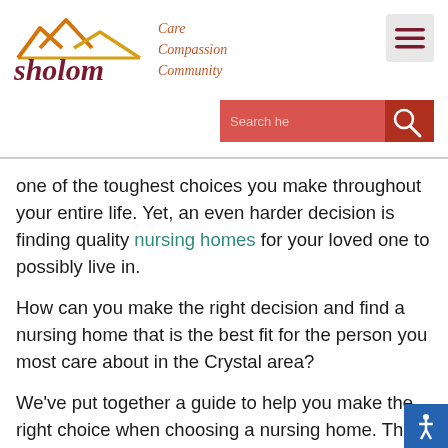[Figure (logo): Sholom logo with house/mountain symbol in orange and gold, text 'sholom' in dark red]
Care
Compassion
Community
[Figure (other): Hamburger menu icon]
[Figure (other): Search bar with red background and search icon]
one of the toughest choices you make throughout your entire life. Yet, an even harder decision is finding quality nursing homes for your loved one to possibly live in.
How can you make the right decision and find a nursing home that is the best fit for the person you most care about in the Crystal area?
We've put together a guide to help you make the right choice when choosing a nursing home. There are many factors you need to consider when going on your search for the right community.